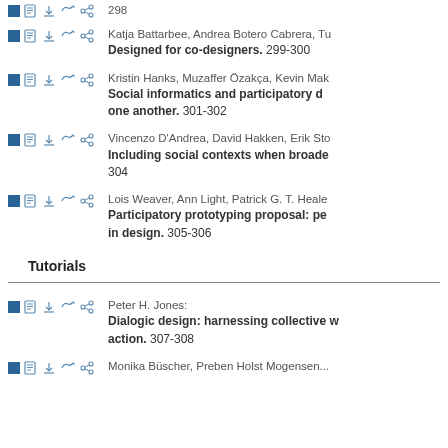Katja Battarbee, Andrea Botero Cabrera, Tu... Designed for co-designers. 299-300
Kristin Hanks, Muzaffer Özakça, Kevin Mak... Social informatics and participatory d... one another. 301-302
Vincenzo D'Andrea, David Hakken, Erik Sto... Including social contexts when broade... 304
Lois Weaver, Ann Light, Patrick G. T. Heale... Participatory prototyping proposal: pe... in design. 305-306
Tutorials
Peter H. Jones: Dialogic design: harnessing collective w... action. 307-308
Monika Büscher, Preben Holst Mogensen...